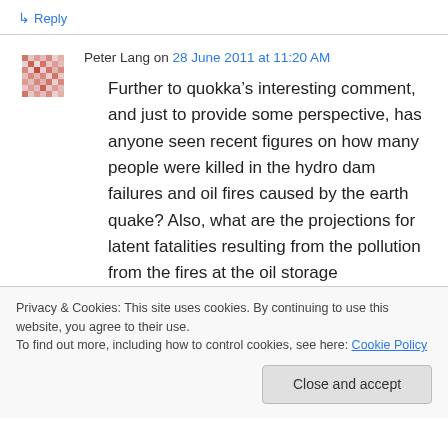↳ Reply
Peter Lang on 28 June 2011 at 11:20 AM
Further to quokka's interesting comment, and just to provide some perspective, has anyone seen recent figures on how many people were killed in the hydro dam failures and oil fires caused by the earth quake? Also, what are the projections for latent fatalities resulting from the pollution from the fires at the oil storage
Privacy & Cookies: This site uses cookies. By continuing to use this website, you agree to their use.
To find out more, including how to control cookies, see here: Cookie Policy
Close and accept